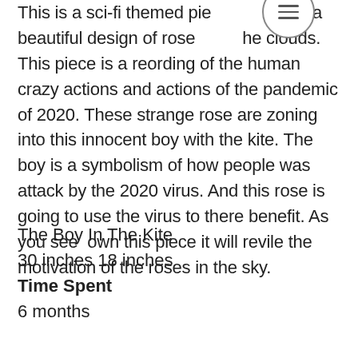This is a sci-fi themed pie with a beautiful design of rose and the clouds. This piece is a recording of the human crazy actions and actions of the pandemic of 2020. These strange rose are zoning into this innocent boy with the kite. The boy is a symbolism of how people was attack by the 2020 virus. And this rose is going to use the virus to there benefit. As you see  own this piece it will revile the motivation of the roses in the sky.
The Boy In The Kite
30 inches 18 inches
Time Spent
6 months